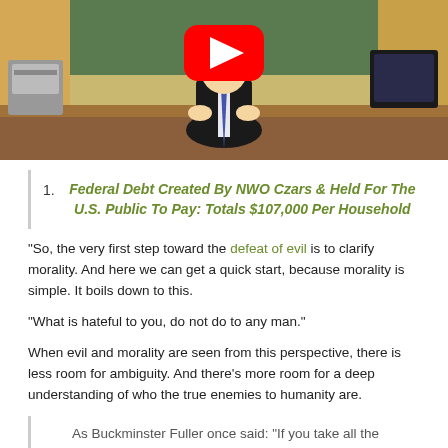[Figure (screenshot): Animated cartoon character in a suit sitting at a desk with a YouTube play button overlay. Background shows a chalkboard and office equipment.]
Federal Debt Created By NWO Czars & Held For The U.S. Public To Pay: Totals $107,000 Per Household
“So, the very first step toward the defeat of evil is to clarify morality. And here we can get a quick start, because morality is simple. It boils down to this.
“What is hateful to you, do not do to any man.”
When evil and morality are seen from this perspective, there is less room for ambiguity. And there’s more room for a deep understanding of who the true enemies to humanity are.
As Buckminster Fuller once said: “If you take all the